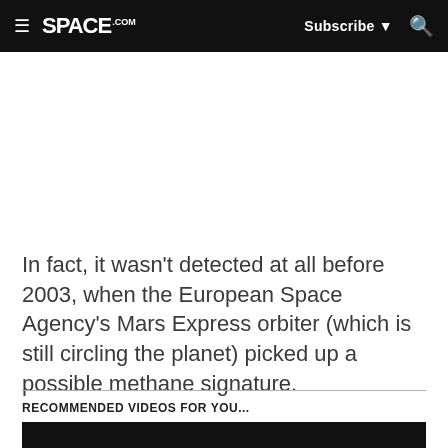SPACE.com | Subscribe | Search
In fact, it wasn't detected at all before 2003, when the European Space Agency's Mars Express orbiter (which is still circling the planet) picked up a possible methane signature.
RECOMMENDED VIDEOS FOR YOU...
[Figure (other): Black video player bar]